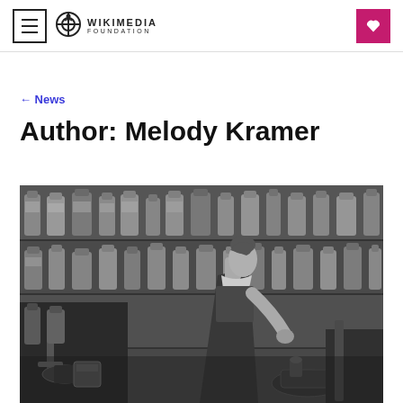Wikimedia Foundation
← News
Author: Melody Kramer
[Figure (photo): Black and white photograph of a woman working in a pharmacy or laboratory, with shelves of labeled bottles behind her. She is facing right in profile, handling laboratory equipment.]